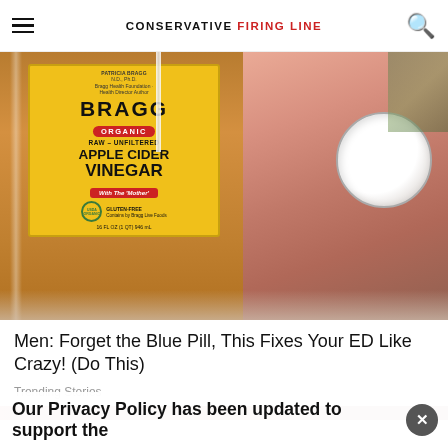CONSERVATIVE FIRING LINE
[Figure (photo): Photo of a Bragg Organic Raw Unfiltered Apple Cider Vinegar bottle with a hand holding a small white plastic cup next to it]
Men: Forget the Blue Pill, This Fixes Your ED Like Crazy! (Do This)
Trending Stories
[Figure (photo): Partial second article image strip]
Our Privacy Policy has been updated to support the